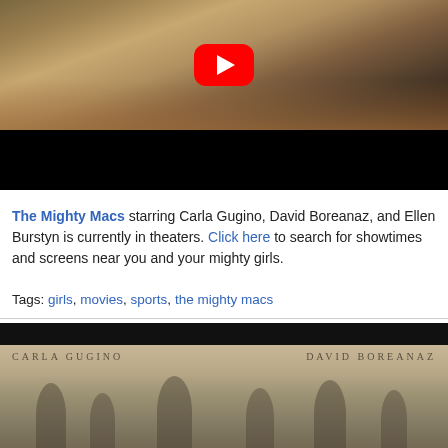[Figure (screenshot): YouTube video thumbnail showing a basketball game scene with a red YouTube play button overlay, followed by a black letterbox bar below]
The Mighty Macs starring Carla Gugino, David Boreanaz, and Ellen Burstyn is currently in theaters. Click here to search for showtimes and screens near you and your mighty girls.
Tags: girls, movies, sports, the mighty macs
[Figure (photo): Movie poster for The Mighty Macs showing CARLA GUGINO and DAVID BOREANAZ names at top with sepia-toned crowd/audience below]